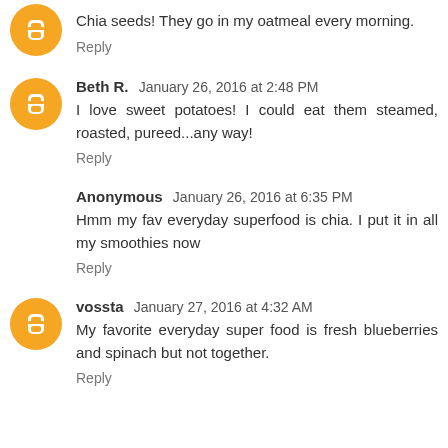Chia seeds! They go in my oatmeal every morning.
Reply
Beth R.  January 26, 2016 at 2:48 PM
I love sweet potatoes! I could eat them steamed, roasted, pureed...any way!
Reply
Anonymous  January 26, 2016 at 6:35 PM
Hmm my fav everyday superfood is chia. I put it in all my smoothies now
Reply
vossta  January 27, 2016 at 4:32 AM
My favorite everyday super food is fresh blueberries and spinach but not together.
Reply